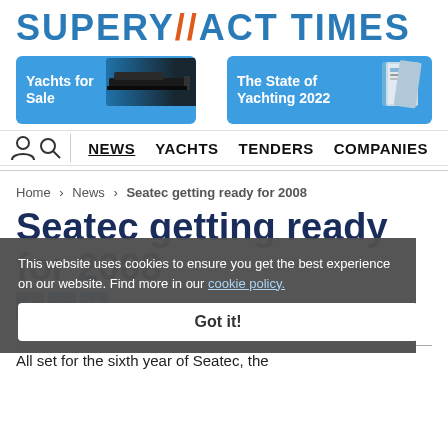SUPERYACHT TIMES
[Figure (screenshot): Two promotional banner buttons: 'Yachts for Sale' with yacht image, and 'The State of Yachting 2022' with book image]
NEWS  YACHTS  TENDERS  COMPANIES
Home > News > Seatec getting ready for 2008
This website uses cookies to ensure you get the best experience on our website. Find more in our cookie policy.
Seatec getting ready for 2008
18 July 2007 | 22:00 (CUT)
All set for the sixth year of Seatec, the